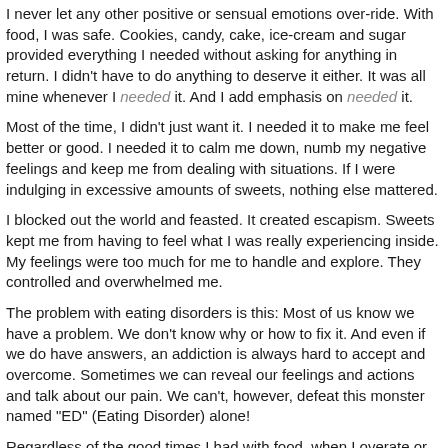I never let any other positive or sensual emotions over-ride. With food, I was safe. Cookies, candy, cake, ice-cream and sugar provided everything I needed without asking for anything in return. I didn't have to do anything to deserve it either. It was all mine whenever I needed it. And I add emphasis on needed it.
Most of the time, I didn't just want it. I needed it to make me feel better or good. I needed it to calm me down, numb my negative feelings and keep me from dealing with situations. If I were indulging in excessive amounts of sweets, nothing else mattered.
I blocked out the world and feasted. It created escapism. Sweets kept me from having to feel what I was really experiencing inside. My feelings were too much for me to handle and explore. They controlled and overwhelmed me.
The problem with eating disorders is this: Most of us know we have a problem. We don't know why or how to fix it. And even if we do have answers, an addiction is always hard to accept and overcome. Sometimes we can reveal our feelings and actions and talk about our pain. We can't, however, defeat this monster named "ED" (Eating Disorder) alone!
Regardless of the good times I had with food, when I overate or binged and more it not always trying emotions enabled feeding inside...